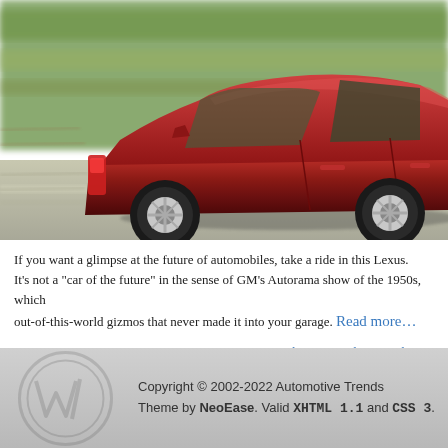[Figure (photo): A red Lexus GS330 sedan photographed from the side while in motion on a road, with motion blur in the background suggesting speed.]
If you want a glimpse at the future of automobiles, take a ride in this Lexus. It’s not a “car of the future” in the sense of GM’s Autorama show of the 1950s, which out-of-this-world gizmos that never made it into your garage. Read more…
Test Drives   2005, GS, GS330, Lexus, luxury, midsize, sedan, V6
Copyright © 2002-2022 Automotive Trends Theme by NeoEase. Valid XHTML 1.1 and CSS 3.